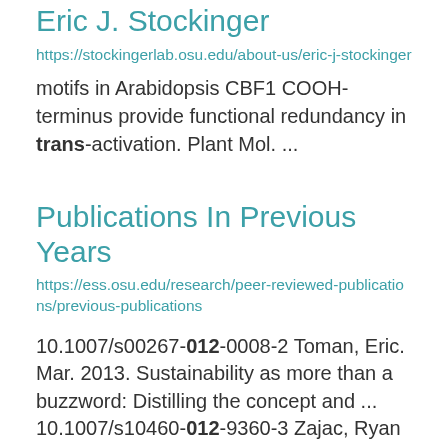Eric J. Stockinger
https://stockingerlab.osu.edu/about-us/eric-j-stockinger
motifs in Arabidopsis CBF1 COOH-terminus provide functional redundancy in trans-activation. Plant Mol. ...
Publications In Previous Years
https://ess.osu.edu/research/peer-reviewed-publications/previous-publications
10.1007/s00267-012-0008-2 Toman, Eric. Mar. 2013. Sustainability as more than a buzzword: Distilling the concept and ... 10.1007/s10460-012-9360-3 Zajac, Ryan M., Jeremy T. Bruskotter, Robyn S. Wilson, and Suzanne Prange.